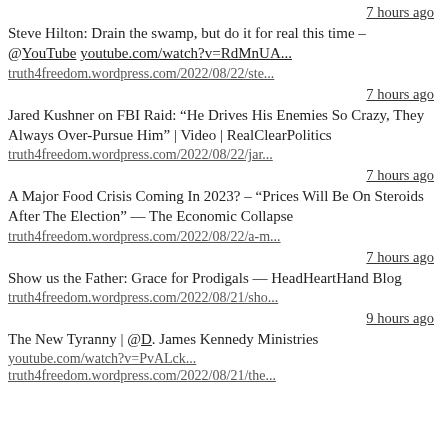7 hours ago
Steve Hilton: Drain the swamp, but do it for real this time – @YouTube youtube.com/watch?v=RdMnUA...
truth4freedom.wordpress.com/2022/08/22/ste...
7 hours ago
Jared Kushner on FBI Raid: “He Drives His Enemies So Crazy, They Always Over-Pursue Him” | Video | RealClearPolitics
truth4freedom.wordpress.com/2022/08/22/jar...
7 hours ago
A Major Food Crisis Coming In 2023? – “Prices Will Be On Steroids After The Election” — The Economic Collapse
truth4freedom.wordpress.com/2022/08/22/a-m...
7 hours ago
Show us the Father: Grace for Prodigals — HeadHeartHand Blog
truth4freedom.wordpress.com/2022/08/21/sho...
9 hours ago
The New Tyranny | @D. James Kennedy Ministries
youtube.com/watch?v=PvALck...
truth4freedom.wordpress.com/2022/08/21/the...